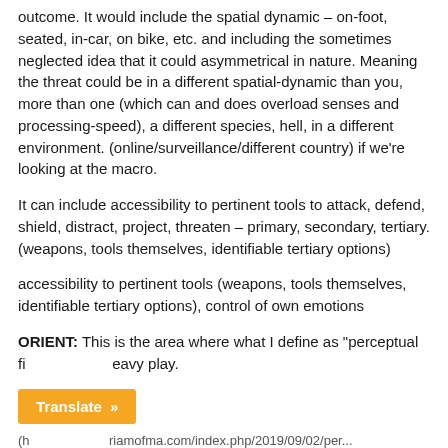outcome. It would include the spatial dynamic – on-foot, seated, in-car, on bike, etc. and including the sometimes neglected idea that it could asymmetrical in nature. Meaning the threat could be in a different spatial-dynamic than you, more than one (which can and does overload senses and processing-speed), a different species, hell, in a different environment. (online/surveillance/different country) if we're looking at the macro.
It can include accessibility to pertinent tools to attack, defend, shield, distract, project, threaten – primary, secondary, tertiary. (weapons, tools themselves, identifiable tertiary options)
accessibility to pertinent tools (weapons, tools themselves, identifiable tertiary options), control of own emotions
ORIENT: This is the area where what I define as "perceptual fi... heavy play.
(h... riamofma.com/index.php/2019/09/02/per...